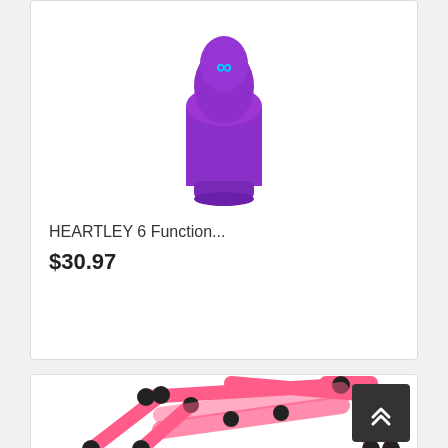[Figure (photo): Purple bullet-shaped product with blue logo/symbol on top, shown against white background]
HEARTLEY 6 Function...
$30.97
[Figure (photo): Pink and black metal frame/rack furniture piece photographed against white background, with a back-to-top button overlaid in bottom right corner]